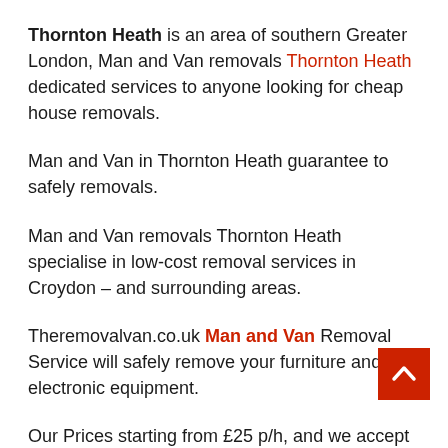Thornton Heath is an area of southern Greater London, Man and Van removals Thornton Heath dedicated services to anyone looking for cheap house removals.
Man and Van in Thornton Heath guarantee to safely removals.
Man and Van removals Thornton Heath specialise in low-cost removal services in Croydon – and surrounding areas.
Theremovalvan.co.uk Man and Van Removal Service will safely remove your furniture and electronic equipment.
Our Prices starting from £25 p/h, and we accept all primary payment methods: PayPal, Credit Card, Debit